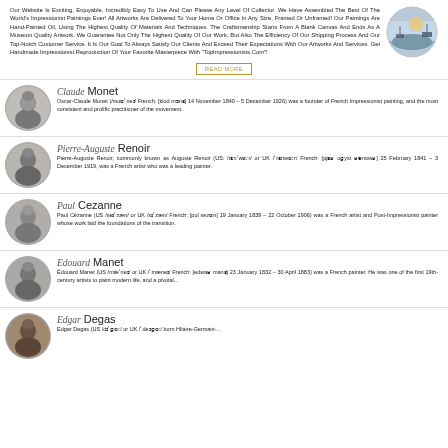Our Website Is Exciting, Enjoyable, Incredibly Easy To Use And Can Please Any Level Of Collector. We Have Assembled The Best Of The World's Impressionist Paintings Ever! All Artworks Are Delivered To Your Home Or Office In Any Size, Framed Or Unframed! Our Paintings Are Hand-Painted Oil, Using The Highest Quality Of Materials And Techniques. The Craftsmanship Starts From A Blank Canvas And Ends As A Museum Quality Artwork. We Guarantee Not Only The Highest Quality Of Our Work, But Also The Efficiency Of Our Shipping Process And Our Top-Notch Customer Service. It Is Our Goal To Always Satisfy Our Clients And Exceed Their Expectations With Our Artworks And Services. Get Handmade Impressionist Reproduction Of Your Favorite Masterpiece With "TopImpressionists.Com"!
[Figure (photo): Circular painting of a misty harbor/sea scene, impressionist style]
READ MORE
[Figure (photo): Black and white portrait photo of Claude Monet]
Claude Monet
Oscar-Claude Monet (/moʊˈneɪ/ French: [klod mɔnɛ] 14 November 1840 – 5 December 1926) was a founder of French Impressionist painting, and the most consistent and prolific practitioner of the movement.
[Figure (photo): Black and white portrait photo of Pierre-Auguste Renoir]
Pierre-Auguste Renoir
Pierre-Auguste Renoir, commonly known as Auguste Renoir (US: /rɛnˈwɑːr/ or UK /ˈrɛnwɑːr/ French: [pjɛʁ oɡyst ʁənwaʁ] 25 February 1841 – 3 December 1919, was a French artist who was a leading painter.
[Figure (photo): Black and white portrait photo of Paul Cezanne]
Paul Cezanne
Paul Cézanne (US /seɪˈzæn/ or UK /sɪˈzæn/ French: [pol sezɑn] 19 January 1839 – 22 October 1906) was a French artist and Post-Impressionist painter whose work laid the foundations of the transition.
[Figure (photo): Black and white portrait photo of Edouard Manet]
Edouard Manet
Édouard Manet (US /mæˈneɪ/ or UK /ˈmæneɪ/ French: [edwaʁ manɛ] 23 January 1832 – 30 April 1883) was a French painter. He was one of the first 19th-century artists to paint modern life, and a pivotal...
[Figure (photo): Sepia portrait photo of Edgar Degas]
Edgar Degas
Edgar Degas (US /dɪˈɡɑː/ or UK /ˈdeɪɡɑː/ born Hilaire-Germain-...